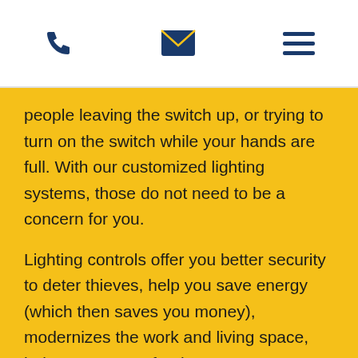[phone icon] [email icon] [menu icon]
people leaving the switch up, or trying to turn on the switch while your hands are full. With our customized lighting systems, those do not need to be a concern for you.
Lighting controls offer you better security to deter thieves, help you save energy (which then saves you money), modernizes the work and living space, helps to set tone for the room or occasion, and puts the power on controlling your lights in your hands.